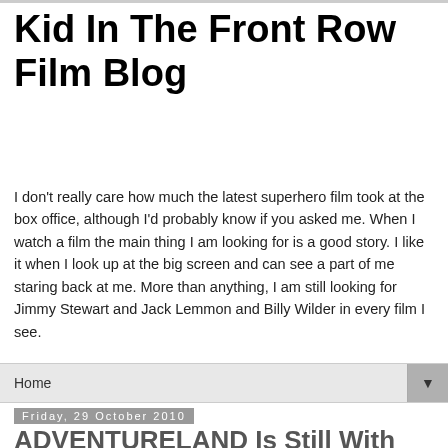Kid In The Front Row Film Blog
I don't really care how much the latest superhero film took at the box office, although I'd probably know if you asked me. When I watch a film the main thing I am looking for is a good story. I like it when I look up at the big screen and can see a part of me staring back at me. More than anything, I am still looking for Jimmy Stewart and Jack Lemmon and Billy Wilder in every film I see.
Home
Friday, 29 October 2010
ADVENTURELAND Is Still With Me
On Tuesday I saw ADVENTURELAND for the first time. On Wednesday I blogged about it. Now it's a few days later and